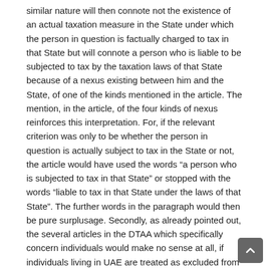similar nature will then connote not the existence of an actual taxation measure in the State under which the person in question is factually charged to tax in that State but will connote a person who is liable to be subjected to tax by the taxation laws of that State because of a nexus existing between him and the State, of one of the kinds mentioned in the article. The mention, in the article, of the four kinds of nexus reinforces this interpretation. For, if the relevant criterion was only to be whether the person in question is actually subject to tax in the State or not, the article would have used the words “a person who is subjected to tax in that State” or stopped with the words “liable to tax in that State under the laws of that State”. The further words in the paragraph would then be pure surplusage. Secondly, as already pointed out, the several articles in the DTAA which specifically concern individuals would make no sense at all, if individuals living in UAE are treated as excluded from the benefits of the agreement because they are not currently subjected to any tax in UAE. It is